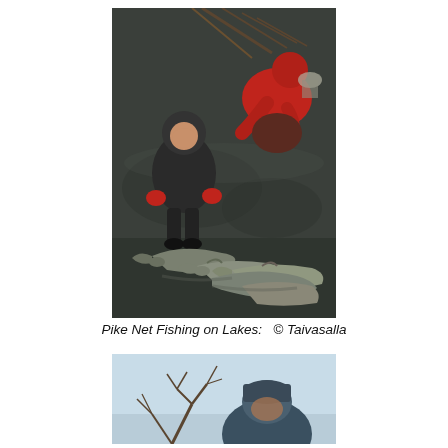[Figure (photo): Two people fishing on a lake. A child in a black jacket with red gloves and a red-jacketed adult crouching over a net. Several large pike fish are laid out on the dark water surface in the foreground.]
Pike Net Fishing on Lakes:   © Taivasalla
[Figure (photo): Partial view of a person in a blue/grey hat, outdoors with bare tree branches visible against a light blue sky, presumably also fishing.]